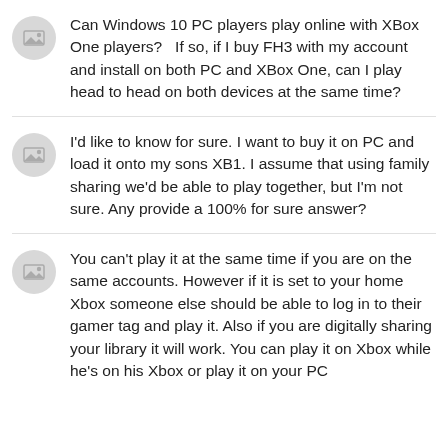Can Windows 10 PC players play online with XBox One players?   If so, if I buy FH3 with my account and install on both PC and XBox One, can I play head to head on both devices at the same time?
I'd like to know for sure. I want to buy it on PC and load it onto my sons XB1. I assume that using family sharing we'd be able to play together, but I'm not sure. Any provide a 100% for sure answer?
You can't play it at the same time if you are on the same accounts. However if it is set to your home Xbox someone else should be able to log in to their gamer tag and play it. Also if you are digitally sharing your library it will work. You can play it on Xbox while he's on his Xbox or play it on your PC